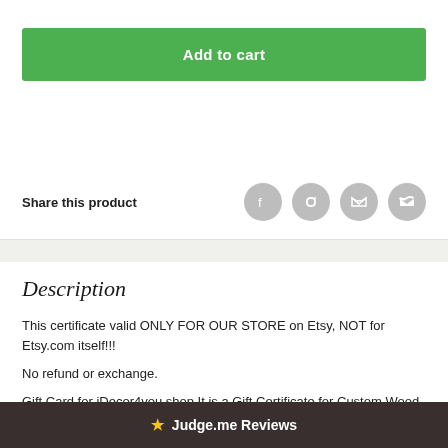Add to cart
Share this product
Description
This certificate valid ONLY FOR OUR STORE on Etsy, NOT for Etsy.com itself!!!
No refund or exchange.
Gift Card for iDecor4you shop It is a Gift Certificate for Custom Wood sign. If you ha...r life that is a little
★ Judge.me Reviews